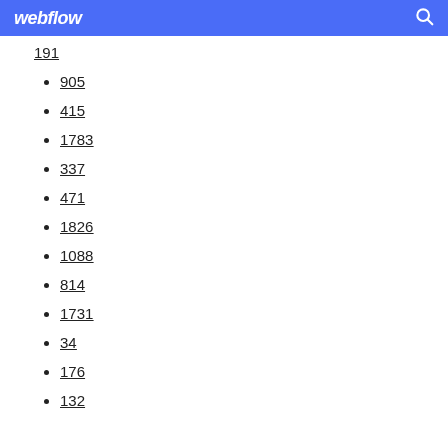webflow
191
905
415
1783
337
471
1826
1088
814
1731
34
176
132